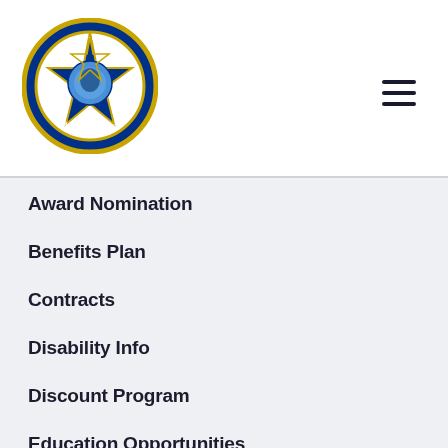[Figure (logo): Chicago Lodge 7 Fraternal Order of Police circular badge logo in blue and gold]
Award Nomination
Benefits Plan
Contracts
Disability Info
Discount Program
Education Opportunities
Employment
Grievances/Safety Complaint
Legal Defense